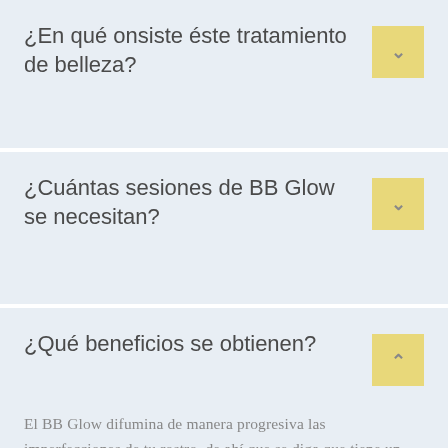¿En qué onsiste éste tratamiento de belleza?
¿Cuántas sesiones de BB Glow se necesitan?
¿Qué beneficios se obtienen?
El BB Glow difumina de manera progresiva las imperfecciones de tu rostro, de ahí que se diga que tiene un «efecto maquillaje permanente». Por lo tanto te va a ayudar a eliminar manchas, reducir cicatrices,